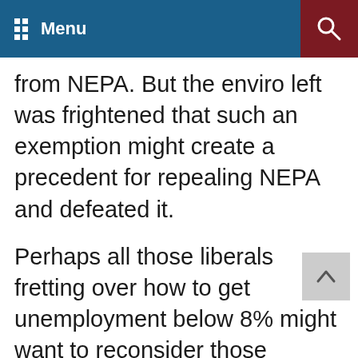Menu
from NEPA. But the enviro left was frightened that such an exemption might create a precedent for repealing NEPA and defeated it.
Perhaps all those liberals fretting over how to get unemployment below 8% might want to reconsider those priorities.
Source material can be found at